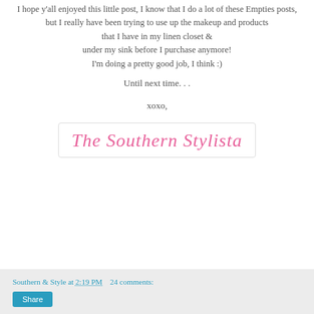I hope y'all enjoyed this little post, I know that I do a lot of these Empties posts, but I really have been trying to use up the makeup and products that I have in my linen closet & under my sink before I purchase anymore! I'm doing a pretty good job, I think :)
Until next time. . .
xoxo,
[Figure (illustration): Cursive script logo reading 'The Southern Stylista' in pink, inside a rounded rectangle border]
Southern & Style at 2:19 PM   24 comments:   Share